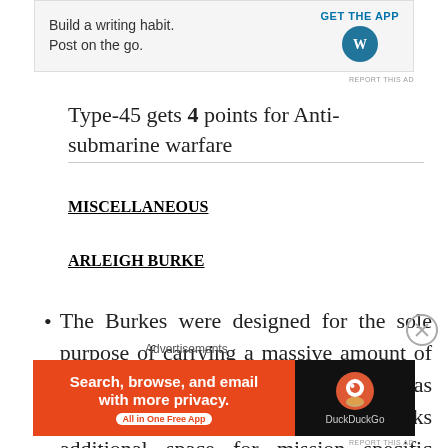[Figure (screenshot): WordPress app advertisement banner: 'Build a writing habit. Post on the go.' with GET THE APP button and WordPress logo]
Type-45 gets 4 points for  Anti-submarine warfare
MISCELLANEOUS
ARLEIGH BURKE
The Burkes were designed for the sole purpose of carrying a massive amount of weaponry and hence less emphasis was placed on crew comfort and it lacks additional space for mission specific equipment.
[Figure (screenshot): DuckDuckGo advertisement: 'Search, browse, and email with more privacy. All in One Free App']